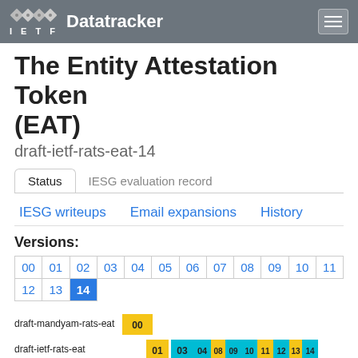IETF Datatracker
The Entity Attestation Token (EAT)
draft-ietf-rats-eat-14
Status | IESG evaluation record
IESG writeups | Email expansions | History
Versions:
| 00 | 01 | 02 | 03 | 04 | 05 | 06 | 07 | 08 | 09 | 10 | 11 |
| --- | --- | --- | --- | --- | --- | --- | --- | --- | --- | --- | --- |
| 12 | 13 | 14 |
[Figure (bar-chart): Timeline chart showing draft-mandyam-rats-eat (version 00) and draft-ietf-rats-eat (versions 01, 03, 04, 08, 09, 10, 11, 12, 13, 14) across years 2019-2022]